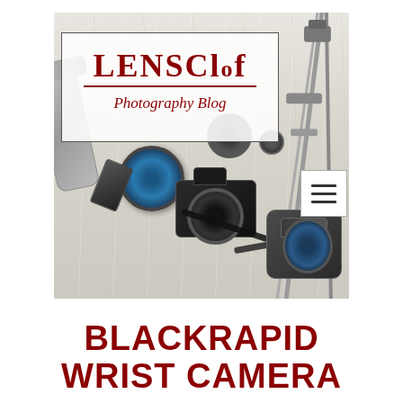[Figure (photo): Photography blog header image showing camera equipment (DSLR body, various lenses, tripod, camera bag, accessories) laid out on a light wood surface. Overlaid with a white box logo reading 'LENSClof Photography Blog' in dark red serif text. A hamburger menu icon appears at the right.]
BLACKRAPID WRIST CAMERA